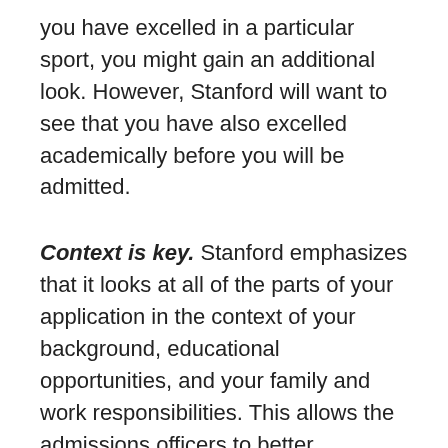you have excelled in a particular sport, you might gain an additional look. However, Stanford will want to see that you have also excelled academically before you will be admitted.
Context is key. Stanford emphasizes that it looks at all of the parts of your application in the context of your background, educational opportunities, and your family and work responsibilities. This allows the admissions officers to better understand how you have been able to take advantage of the opportunities around you within your environment. While these components might give you a basic idea of how the admissions officers at Stanford evaluate applications, a more focused look at how to prepare to apply for admission to Stanford is important. We will